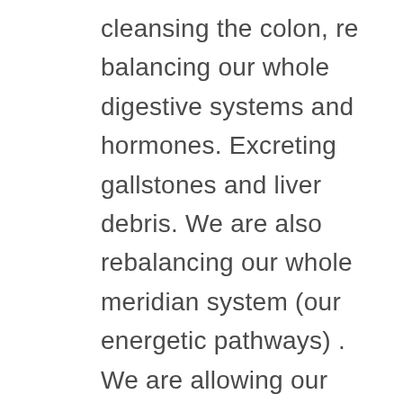cleansing the colon, re balancing our whole digestive systems and hormones. Excreting gallstones and liver debris. We are also rebalancing our whole meridian system (our energetic pathways) . We are allowing our body to open up and release any unprocessed emotions, stored trauma, letting go of old belief systems that are no longer serving us. We are uncovering conditionings we may not have known we had. We are